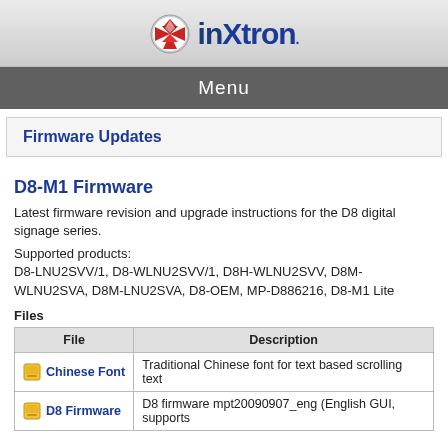[Figure (logo): inXtron logo with red/white X icon and blue 'inXtron.' text]
Menu
Firmware Updates
D8-M1 Firmware
Latest firmware revision and upgrade instructions for the D8 digital signage series.
Supported products:
D8-LNU2SVV/1, D8-WLNU2SVV/1, D8H-WLNU2SVV, D8M-WLNU2SVA, D8M-LNU2SVA, D8-OEM, MP-D886216, D8-M1 Lite
Files
| File | Description |
| --- | --- |
| Chinese Font | Traditional Chinese font for text based scrolling text |
| D8 Firmware | D8 firmware mpt20090907_eng (English GUI, supports |